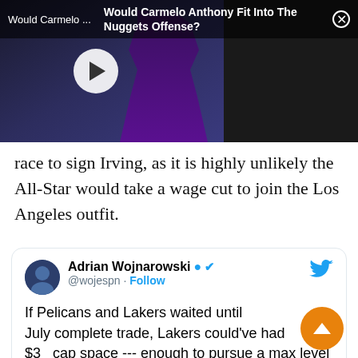[Figure (screenshot): Video player banner showing a basketball player in Lakers uniform, with a play button overlay. Top bar text: 'Would Carmelo ...' on left, 'Would Carmelo Anthony Fit Into The Nuggets Offense?' on right with close button.]
race to sign Irving, as it is highly unlikely the All-Star would take a wage cut to join the Los Angeles outfit.
[Figure (screenshot): Embedded tweet from Adrian Wojnarowski (@wojespn) with Twitter bird logo. Tweet text: 'If Pelicans and Lakers waited until July complete trade, Lakers could've had $3 cap space --- enough to pursue a max level free agent. By waiting 30 days, Lakers would be acting like a team over the cap and thus allowed to use 4th overall pick in draft as salary.']